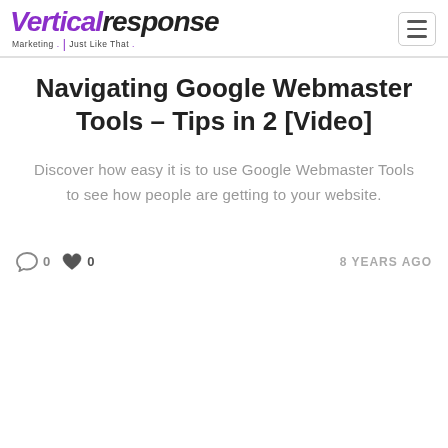VerticalResponse — Marketing. Just Like That.
Navigating Google Webmaster Tools – Tips in 2 [Video]
Discover how easy it is to use Google Webmaster Tools to see how people are getting to your website.
0 comments · 0 likes · 8 YEARS AGO